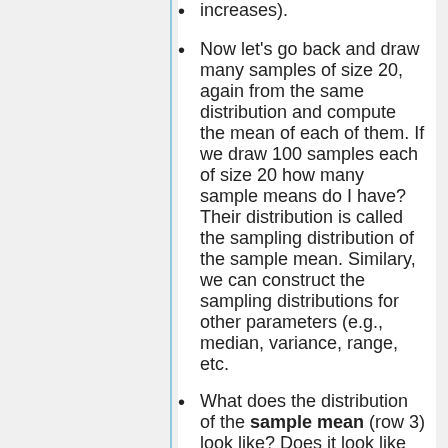increases).
Now let's go back and draw many samples of size 20, again from the same distribution and compute the mean of each of them. If we draw 100 samples each of size 20 how many sample means do I have? Their distribution is called the sampling distribution of the sample mean. Similary, we can construct the sampling distributions for other parameters (e.g., median, variance, range, etc.
What does the distribution of the sample mean (row 3) look like? Does it look like the one in the second row? Does it depend on the sample-size?
Now, compare the distribution of the last sample and the sampling